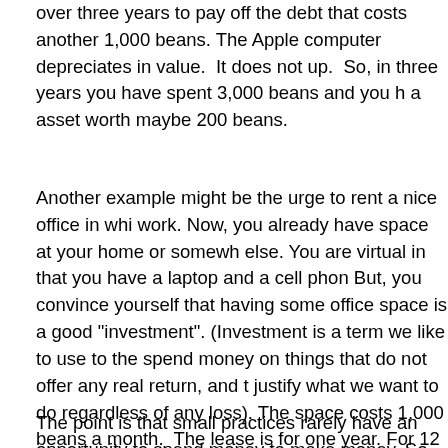over three years to pay off the debt that costs another 1,000 beans. The Apple computer depreciates in value. It does not up. So, in three years you have spent 3,000 beans and you have a asset worth maybe 200 beans.
Another example might be the urge to rent a nice office in which work. Now, you already have space at your home or somewhere else. You are virtual in that you have a laptop and a cell phone. But, you convince yourself that having some office space is a good "investment". (Investment is a term we like to use to the spend money on things that do not offer any real return, and to justify what we want to do regardless of any loss). The space costs 1,000 beans a month. The lease is for one year. For 12 beans at the end of the year you have an asset worth 0 beans. On top of that, the space cost you more beans in terms of utilities, internet hook up, commuting, and in maintaining that image that is important to you -- but not really anybody else.
The point is that small practices rarely have an opportunity to spend money to make money. So, the saying does not work in